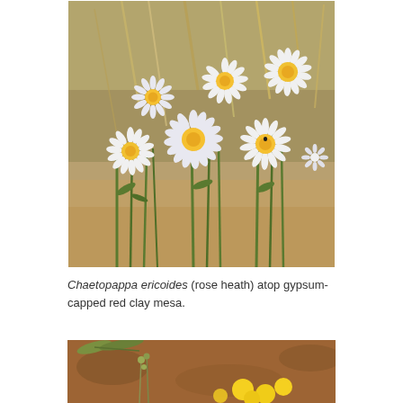[Figure (photo): Close-up photograph of Chaetopappa ericoides (rose heath) flowers with white petals and yellow centers, growing on a gypsum-capped red clay mesa with dry grasses in the background.]
Chaetopappa ericoides (rose heath) atop gypsum-capped red clay mesa.
[Figure (photo): Close-up photograph of small yellow flowers and green buds against a blurred brown background, partially visible at bottom of page.]